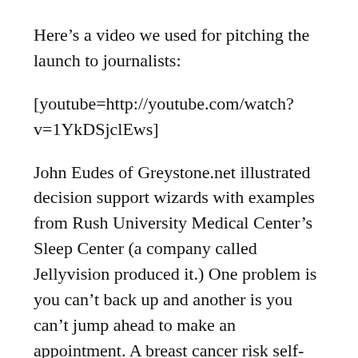Here’s a video we used for pitching the launch to journalists:
[youtube=http://youtube.com/watch?v=1YkDSjclEws]
John Eudes of Greystone.net illustrated decision support wizards with examples from Rush University Medical Center’s Sleep Center (a company called Jellyvision produced it.) One problem is you can’t back up and another is you can’t jump ahead to make an appointment. A breast cancer risk self-assessment wizard from Central Health systems is improved because it has an interactive navigation box at the bottom that solves some of these problems.